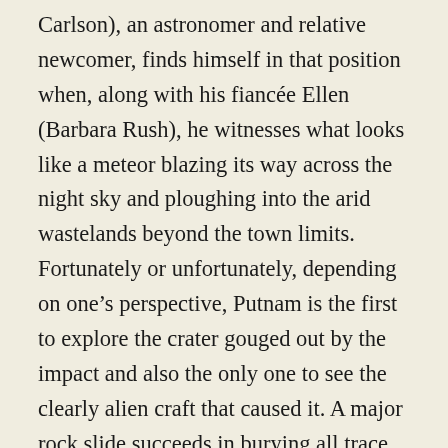Carlson), an astronomer and relative newcomer, finds himself in that position when, along with his fiancée Ellen (Barbara Rush), he witnesses what looks like a meteor blazing its way across the night sky and ploughing into the arid wastelands beyond the town limits. Fortunately or unfortunately, depending on one's perspective, Putnam is the first to explore the crater gouged out by the impact and also the only one to see the clearly alien craft that caused it. A major rock slide succeeds in burying all trace of the find, and leaves him in the unenviable position of trying to convince others of the significance of what's just happened. Perhaps not unnaturally, his claims are met with almost universal skepticism, Ellen being the only one not to doubt him, and borderline hostility from one particular quarter. Matt Warren (Charles Drake) is the local sheriff who clearly has feelings for Ellen and this arguably colors his